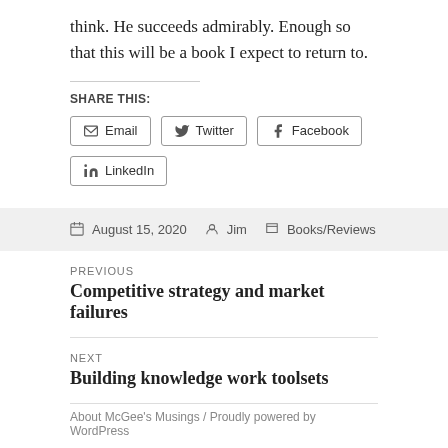think. He succeeds admirably. Enough so that this will be a book I expect to return to.
SHARE THIS:
Email  Twitter  Facebook  LinkedIn
August 15, 2020  Jim  Books/Reviews
PREVIOUS
Competitive strategy and market failures
NEXT
Building knowledge work toolsets
About McGee's Musings / Proudly powered by WordPress